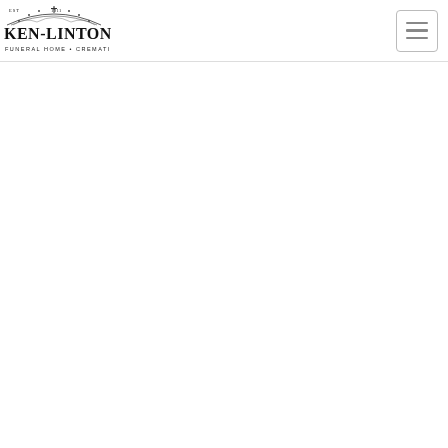[Figure (logo): Eicken-Linton Funeral Home Cremations logo — ornate arch decoration above the text, EST 1911 small text, main text KEN-LINTON in large serif font, below FUNERAL HOME • CREMATIONS in smaller spaced caps]